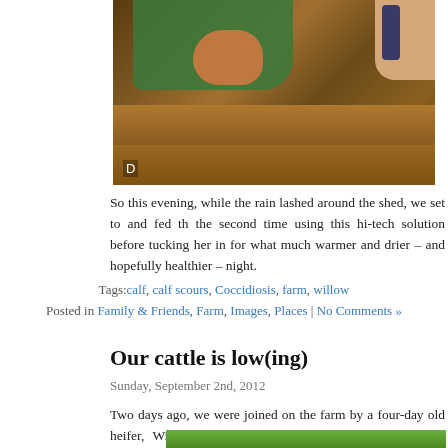[Figure (photo): Photo of a calf in a barn stall with straw bedding, a person in a green jacket feeding it with a bottle, wooden stall walls visible]
So this evening, while the rain lashed around the shed, we set to and fed the second time using this hi-tech solution before tucking her in for what much warmer and drier – and hopefully healthier – night.
Tags: calf, calf scours, Coccidiosis, farm, willow
Posted in Family & Friends, Farm, Images, Places | No Comments »
Our cattle is low(ing)
Sunday, September 2nd, 2012
Two days ago, we were joined on the farm by a four-day old heifer, Willow, a coloured Jersey/Angus cross purchased through my good friend Johnny*. T is for Willow to be the start of Maisie's college/OE fund, raising her to breed calves that can be sold on.
[Figure (photo): Bottom portion of a green field/grass photo, partially visible]